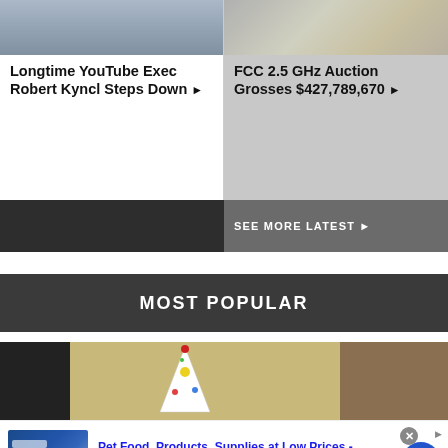[Figure (photo): Top-left card: partial photo of a person in a dark shirt, cropped to show shoulders/chest area]
Longtime YouTube Exec Robert Kyncl Steps Down ▶
[Figure (photo): Top-right card: photo of money/cash bills]
FCC 2.5 GHz Auction Grosses $427,789,670 ▶
SEE MORE LATEST ▶
MOST POPULAR
[Figure (photo): Photo of a party hat (cone-shaped, decorated with colorful dots and red bow on top) against a blurred room background]
Pet Food, Products, Supplies at Low Prices - Pay the lowest prices on pet supplies at Chewy.com chewy.com